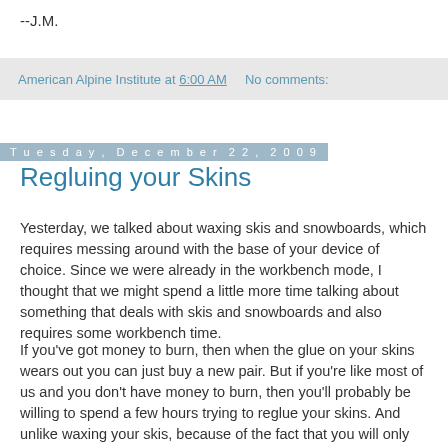--J.M.
American Alpine Institute at 6:00 AM    No comments:
Tuesday, December 22, 2009
Regluing your Skins
Yesterday, we talked about waxing skis and snowboards, which requires messing around with the base of your device of choice. Since we were already in the workbench mode, I thought that we might spend a little more time talking about something that deals with skis and snowboards and also requires some workbench time.
If you've got money to burn, then when the glue on your skins wears out you can just buy a new pair. But if you're like most of us and you don't have money to burn, then you'll probably be willing to spend a few hours trying to reglue your skins. And unlike waxing your skis, because of the fact that you will only have to do this once every few years, the